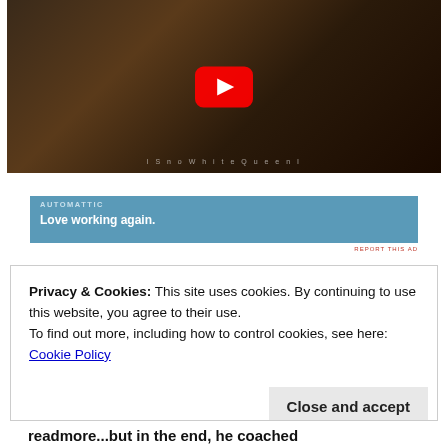[Figure (screenshot): YouTube video thumbnail showing a man holding a gun in a dark cinematic scene, with a red YouTube play button overlay. Watermark text: ISnoWhiteQueenI]
[Figure (screenshot): Advertisement banner with blue background. Company: AUTOMATTIC. Tagline: Love working again.]
REPORT THIS AD
Privacy & Cookies: This site uses cookies. By continuing to use this website, you agree to their use.
To find out more, including how to control cookies, see here:
Cookie Policy
Close and accept
readmore...but in the end, he coached